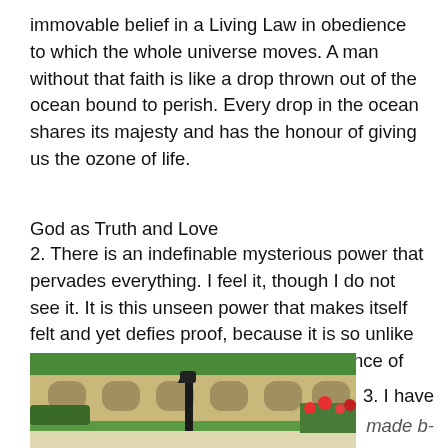immovable belief in a Living Law in obedience to which the whole universe moves. A man without that faith is like a drop thrown out of the ocean bound to perish. Every drop in the ocean shares its majesty and has the honour of giving us the ozone of life.
God as Truth and Love
2. There is an indefinable mysterious power that pervades everything. I feel it, though I do not see it. It is this unseen power that makes itself felt and yet defies proof, because it is so unlike all that I perceive through out the existence of God to a limited extent.
[Figure (photo): Outdoor photo showing a stone building with arched windows, a black lamp post in the foreground, green lawn, and flowering plants on the right side.]
3. I have